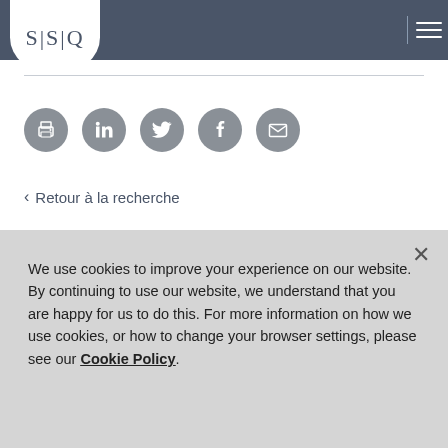SSQ logo and navigation header
[Figure (infographic): Social sharing icons row: print, LinkedIn, Twitter, Facebook, email]
< Retour à la recherche
Nous contacter
We use cookies to improve your experience on our website. By continuing to use our website, we understand that you are happy for us to do this. For more information on how we use cookies, or how to change your browser settings, please see our Cookie Policy.